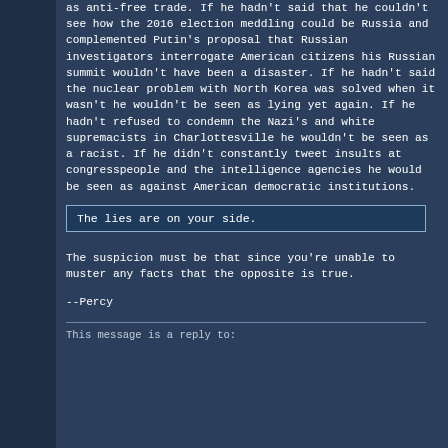as anti-free trade. If he hadn't said that he couldn't see how the 2016 election meddling could be Russia and complemented Putin's proposal that Russian investigators interrogate American citizens his Russian summit wouldn't have been a disaster. If he hadn't said the nuclear problem with North Korea was solved when it wasn't he wouldn't be seen as lying yet again. If he hadn't refused to condemn the Nazi's and white supremacists in Charlottesville he wouldn't be seen as a racist. If he didn't constantly tweet insults at congresspeople and the intelligence agencies he would be seen as against American democratic institutions.
The lies are on your side.
The suspicion must be that since you're unable to muster any facts that the opposite is true.
--Percy
This message is a reply to: